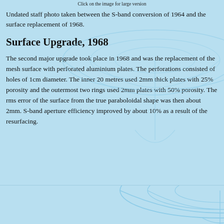Click on the image for large version
Undated staff photo taken between the S-band conversion of 1964 and the surface replacement of 1968.
Surface Upgrade, 1968
The second major upgrade took place in 1968 and was the replacement of the mesh surface with perforated aluminium plates. The perforations consisted of holes of 1cm diameter. The inner 20 metres used 2mm thick plates with 25% porosity and the outermost two rings used 2mm plates with 50% porosity. The rms error of the surface from the true paraboloidal shape was then about 2mm. S-band aperture efficiency improved by about 10% as a result of the resurfacing.
[Figure (illustration): Background illustration of a radio telescope dish outline, shown at bottom of page, light blue line drawing on light blue background.]